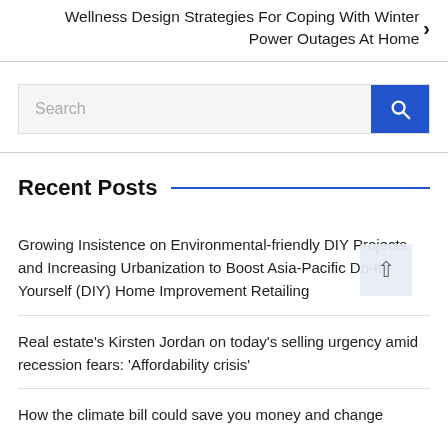Wellness Design Strategies For Coping With Winter Power Outages At Home ›
Recent Posts
Growing Insistence on Environmental-friendly DIY Projects and Increasing Urbanization to Boost Asia-Pacific Do-It-Yourself (DIY) Home Improvement Retailing
Real estate's Kirsten Jordan on today's selling urgency amid recession fears: 'Affordability crisis'
How the climate bill could save you money and change